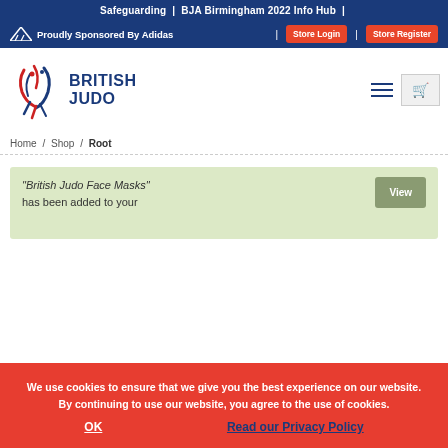Safeguarding | BJA Birmingham 2022 Info Hub |
Proudly Sponsored By Adidas | Store Login | Store Register
[Figure (logo): British Judo logo with stylized judo figure in red and blue, text BRITISH JUDO in dark blue bold]
Home / Shop / Root
“British Judo Face Masks” has been added to your
We use cookies to ensure that we give you the best experience on our website. By continuing to use our website, you agree to the use of cookies.
OK
Read our Privacy Policy